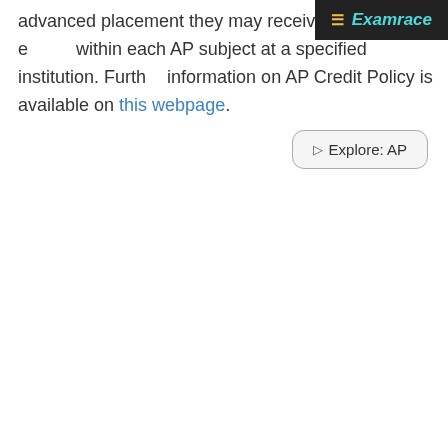[Figure (logo): Examrace logo banner in dark background with menu icon and italic teal brand name]
advanced placement they may receive for qualifying exams within each AP subject at a specified institution. Further information on AP Credit Policy is available on this webpage.
[Figure (other): Explore: AP button with rounded rectangle border]